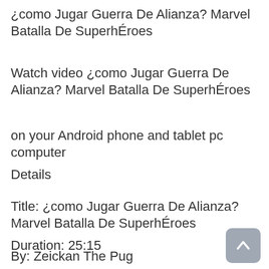¿como Jugar Guerra De Alianza? Marvel Batalla De SuperhÉroes
Watch video ¿como Jugar Guerra De Alianza? Marvel Batalla De SuperhÉroes
on your Android phone and tablet pc computer
Details
Title: ¿como Jugar Guerra De Alianza? Marvel Batalla De SuperhÉroes
Duration: 25:15
By: Zeickan The Pug